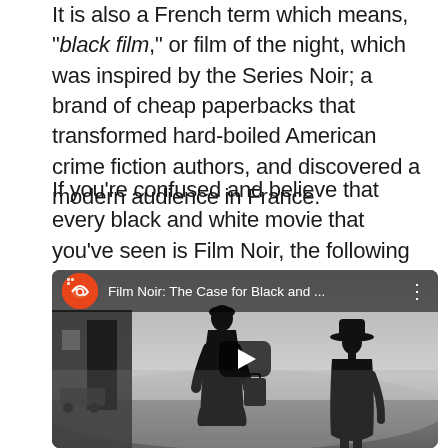It is also a French term which means, "black film," or film of the night, which was inspired by the Series Noir; a brand of cheap paperbacks that transformed hard-boiled American crime fiction authors, and discovered a modern audience in France.
If you're confused and believe that every black and white movie that you've seen is Film Noir, the following features would clarify it for you;
[Figure (screenshot): YouTube video embed thumbnail showing Film Noir: The Case for Black and ... with two silhouetted figures (a woman and a man with a hat) in a misty black and white scene. A play button is visible in the center.]